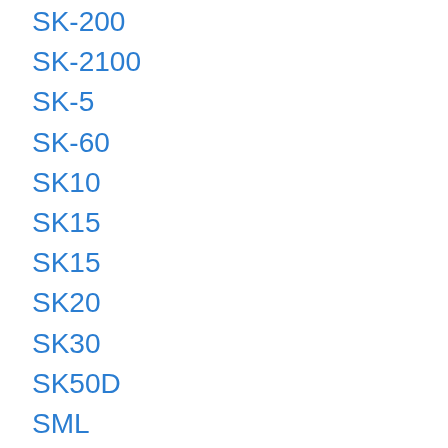SK-200
SK-2100
SK-5
SK-60
SK10
SK15
SK15
SK20
SK30
SK50D
SML
Solaris
Solina
Soloist